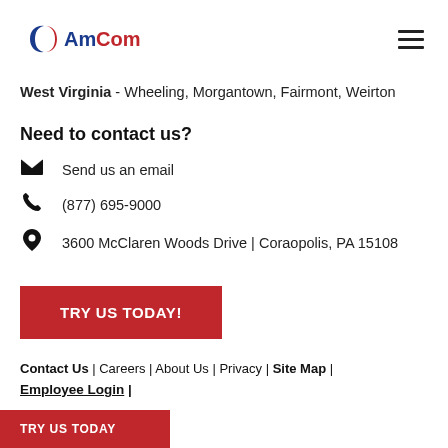AmCom
West Virginia - Wheeling, Morgantown, Fairmont, Weirton
Need to contact us?
Send us an email
(877) 695-9000
3600 McClaren Woods Drive | Coraopolis, PA 15108
TRY US TODAY!
Contact Us | Careers | About Us | Privacy | Site Map | Employee Login |
TRY US TODAY